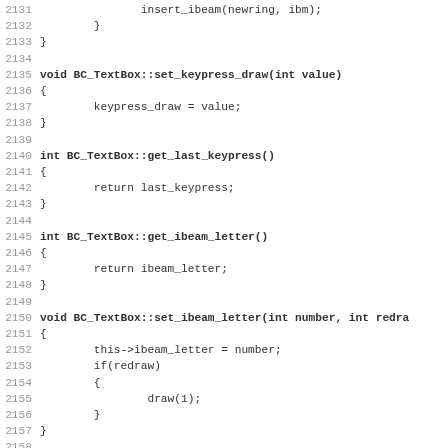Source code listing lines 2131-2163 showing C++ methods for BC_TextBox class including set_keypress_draw, get_last_keypress, get_ibeam_letter, set_ibeam_letter, and set_separators